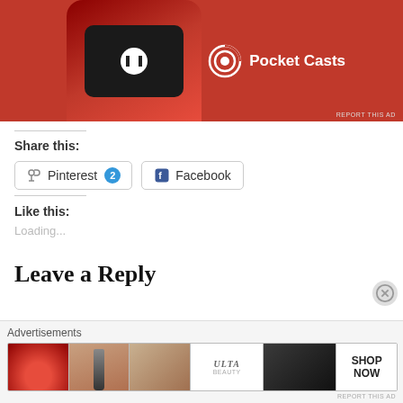[Figure (screenshot): Pocket Casts app advertisement showing a red smartphone with audio controls and the Pocket Casts logo on a red background]
REPORT THIS AD
Share this:
[Figure (screenshot): Pinterest share button with badge showing 2]
[Figure (screenshot): Facebook share button]
Like this:
Loading...
Leave a Reply
Advertisements
[Figure (screenshot): Ulta Beauty advertisement strip showing makeup images including lips, brush, eyes, Ulta logo, and Shop Now button]
REPORT THIS AD